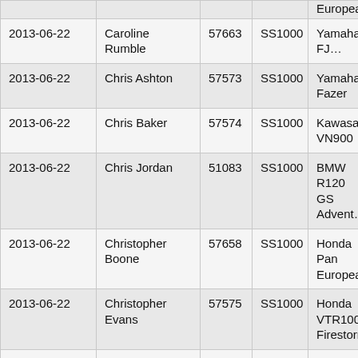| Date | Name | ID | Category | Motorcycle |
| --- | --- | --- | --- | --- |
| 2013-06-22 | Caroline Rumble | 57663 | SS1000 | Yamaha FJ… |
| 2013-06-22 | Chris Ashton | 57573 | SS1000 | Yamaha Fazer |
| 2013-06-22 | Chris Baker | 57574 | SS1000 | Kawasaki VN900 |
| 2013-06-22 | Chris Jordan | 51083 | SS1000 | BMW R120 GS Advent… |
| 2013-06-22 | Christopher Boone | 57658 | SS1000 | Honda Pan European |
| 2013-06-22 | Christopher Evans | 57575 | SS1000 | Honda VTR1000F Firestorm |
| 2013-06-22 | Christopher Storr | 51063 | SS1000 | Yamaha FZS600 Fazer |
| 2013-06-22 | Christopher Thomas | 57576 | SS1000 | Honda ST1300 Pa… European |
| 2013-06-22 | Christopher Wallis | 51127 | SS1000 | Triumph Ti… 1050 |
| 2013-06-22 | Clive Ma… | 57577 | SS1000 | Triumph Ti… |